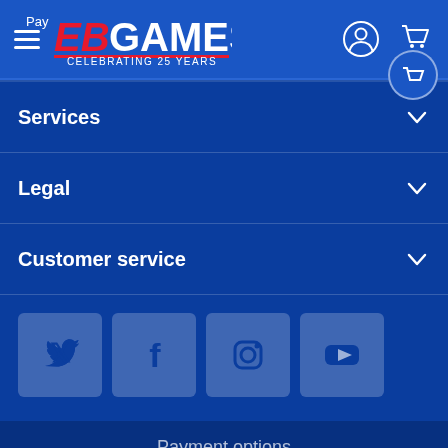[Figure (logo): EB Games logo with text 'CELEBRATING 25 YEARS' on blue header bar with hamburger menu, user icon, and cart icon]
Services
Legal
Customer service
[Figure (infographic): Social media icons: Twitter, Facebook, Instagram, YouTube - displayed as square blue buttons]
Payment options
[Figure (infographic): Payment method logos: VISA, Mastercard, American Express, Apple Pay, Google Pay, PayPal, Klarna, and others]